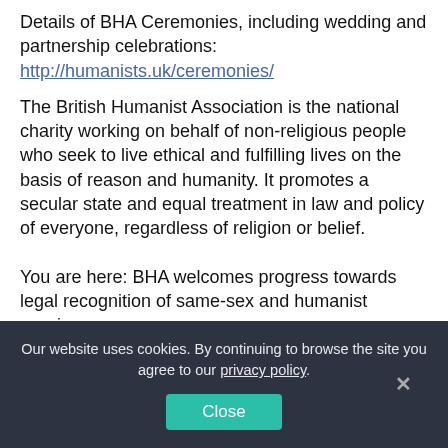Details of BHA Ceremonies, including wedding and partnership celebrations:
http://humanists.uk/ceremonies/
The British Humanist Association is the national charity working on behalf of non-religious people who seek to live ethical and fulfilling lives on the basis of reason and humanity. It promotes a secular state and equal treatment in law and policy of everyone, regardless of religion or belief.
You are here: BHA welcomes progress towards legal recognition of same-sex and humanist marriages
Our website uses cookies. By continuing to browse the site you agree to our privacy policy.